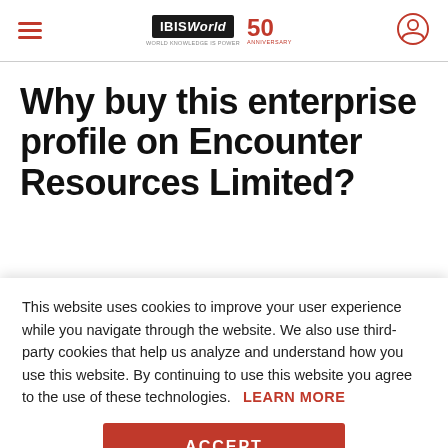IBISWorld 50th Anniversary — Navigation header with hamburger menu and user icon
Why buy this enterprise profile on Encounter Resources Limited?
This website uses cookies to improve your user experience while you navigate through the website. We also use third-party cookies that help us analyze and understand how you use this website. By continuing to use this website you agree to the use of these technologies. LEARN MORE
ACCEPT